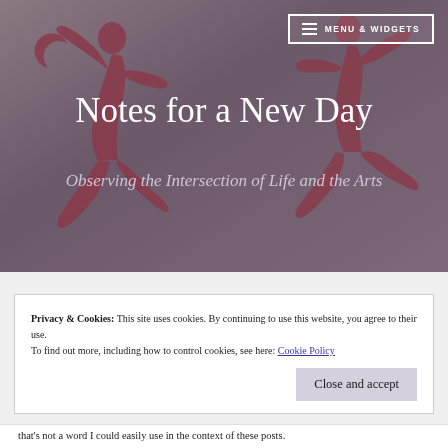[Figure (photo): Hero banner with abstract reddish-maroon dancing figure silhouettes on a muted purple-grey background]
≡ MENU & WIDGETS
Notes for a New Day
Observing the Intersection of Life and the Arts
Privacy & Cookies: This site uses cookies. By continuing to use this website, you agree to their use.
To find out more, including how to control cookies, see here: Cookie Policy
Close and accept
that's not a word I could easily use in the context of these posts.